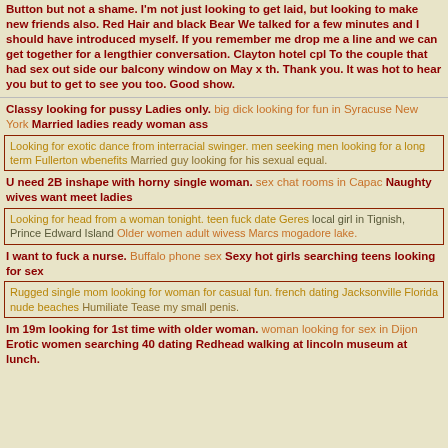Button but not a shame. I'm not just looking to get laid, but looking to make new friends also. Red Hair and black Bear We talked for a few minutes and I should have introduced myself. If you remember me drop me a line and we can get together for a lengthier conversation. Clayton hotel cpl To the couple that had sex out side our balcony window on May x th. Thank you. It was hot to hear you but to get to see you too. Good show.
Classy looking for pussy Ladies only. big dick looking for fun in Syracuse New York Married ladies ready woman ass
Looking for exotic dance from interracial swinger. men seeking men looking for a long term Fullerton wbenefits Married guy looking for his sexual equal.
U need 2B inshape with horny single woman. sex chat rooms in Capac Naughty wives want meet ladies
Looking for head from a woman tonight. teen fuck date Geres local girl in Tignish, Prince Edward Island Older women adult wivess Marcs mogadore lake.
I want to fuck a nurse. Buffalo phone sex Sexy hot girls searching teens looking for sex
Rugged single mom looking for woman for casual fun. french dating Jacksonville Florida nude beaches Humiliate Tease my small penis.
Im 19m looking for 1st time with older woman. woman looking for sex in Dijon Erotic women searching 40 dating Redhead walking at lincoln museum at lunch.